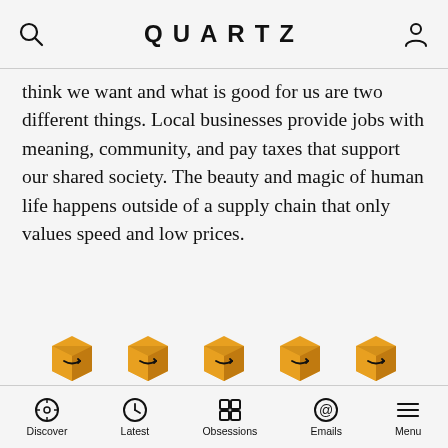QUARTZ
think we want and what is good for us are two different things. Local businesses provide jobs with meaning, community, and pay taxes that support our shared society. The beauty and magic of human life happens outside of a supply chain that only values speed and low prices.
[Figure (illustration): Five Amazon package boxes with smile logo arranged in a row]
Rebecca Parsons
Chief Technology Officer, ThoughtWorks
Discover   Latest   Obsessions   Emails   Menu